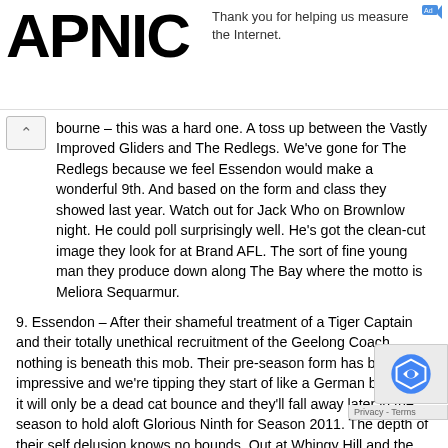APNIC — Thank you for helping us measure the Internet.
bourne – this was a hard one. A toss up between the Vastly Improved Gliders and The Redlegs. We've gone for The Redlegs because we feel Essendon would make a wonderful 9th. And based on the form and class they showed last year. Watch out for Jack Who on Brownlow night. He could poll surprisingly well. He's got the clean-cut image they look for at Brand AFL. The sort of fine young man they produce down along The Bay where the motto is Meliora Sequarmur.
9. Essendon – After their shameful treatment of a Tiger Captain and their totally unethical recruitment of the Geelong Coach, nothing is beneath this mob. Their pre-season form has been impressive and we're tipping they start of like a German band, but it will only be a dead cat bounce and they'll fall away later in the season to hold aloft Glorious Ninth for Season 2011. The depth of their self delusion knows no bounds. Out at Whingy Hill and the Puckle Street Pâtisserie they talk of fear & loathing. The rest of us regard their actions with profound distaste.
10. North Melbourne – We had The Northerners at 14th last season and we were wrong; they just missed out on the Finals after some gallant performances. There's tension at Arden Street, and while the Whole Football World only wishes them well, they look to be locked into the of mid-ladder mediocrity.